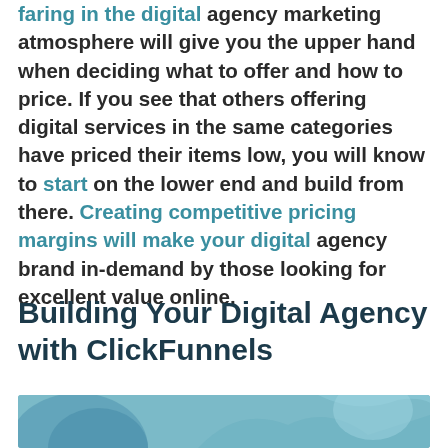faring in the digital agency marketing atmosphere will give you the upper hand when deciding what to offer and how to price. If you see that others offering digital services in the same categories have priced their items low, you will know to start on the lower end and build from there. Creating competitive pricing margins will make your digital agency brand in-demand by those looking for excellent value online.
Building Your Digital Agency with ClickFunnels
[Figure (photo): Partial photo visible at the bottom of the page, showing a teal/blue toned image, likely related to digital agency or ClickFunnels content.]